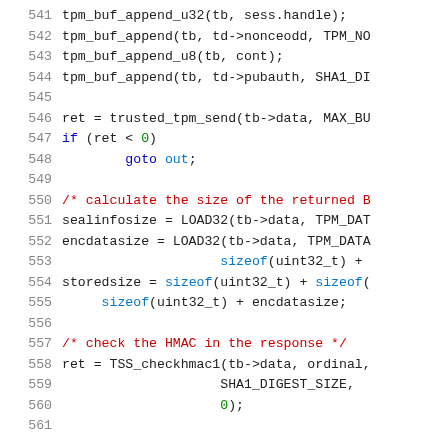[Figure (screenshot): Source code snippet showing C code lines 541–561 with syntax highlighting. Line numbers in gray, keywords in blue, comments in red, numeric/string literals in green, identifiers in black/dark blue.]